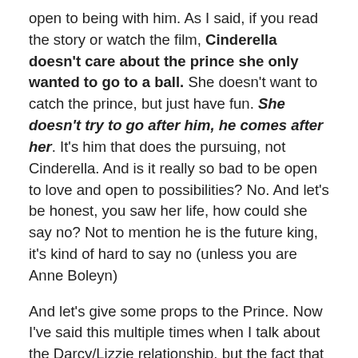open to being with him. As I said, if you read the story or watch the film, Cinderella doesn't care about the prince she only wanted to go to a ball. She doesn't want to catch the prince, but just have fun. She doesn't try to go after him, he comes after her. It's him that does the pursuing, not Cinderella. And is it really so bad to be open to love and open to possibilities? No. And let's be honest, you saw her life, how could she say no? Not to mention he is the future king, it's kind of hard to say no (unless you are Anne Boleyn)
And let's give some props to the Prince. Now I've said this multiple times when I talk about the Darcy/Lizzie relationship, but the fact that the prince is willing to marry a girl who has been living as a servant for the past few years and most likely isn't royal…that's huge! HUGE. It was not done as this was scandal on the household, was